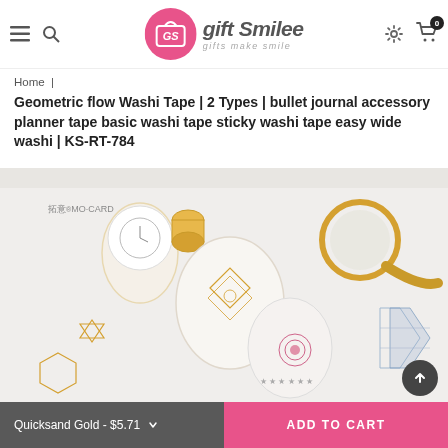gift Smilee - gifts make smile
Home | Geometric flow Washi Tape | 2 Types | bullet journal accessory planner tape basic washi tape sticky washi tape easy wide washi | KS-RT-784
[Figure (photo): Product photo showing multiple rolls of geometric pattern washi tape with gold and white designs, including diamond and star patterns. Also visible: a small desk clock, magnifying glass, and other stationery items on a white background. Brand label reads MO·CARD.]
Quicksand Gold - $5.71   ADD TO CART